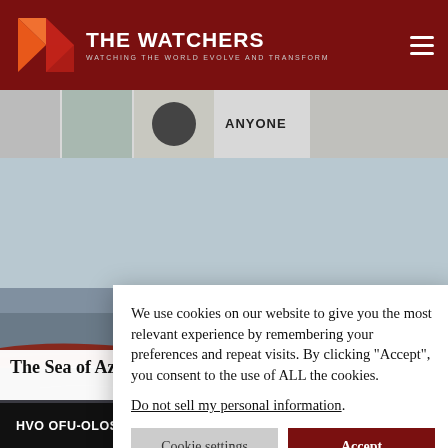THE WATCHERS — WATCHING THE WORLD EVOLVE AND TRANSFORM
[Figure (photo): Partial advertisement banner showing images and text 'ANYONE']
[Figure (photo): Photo of the Sea of Azov showing red-colored water near the shoreline with gray water beyond]
The Sea of Az...
We use cookies on our website to give you the most relevant experience by remembering your preferences and repeat visits. By clicking “Accept”, you consent to the use of ALL the cookies.
Do not sell my personal information.
HVO OFU-OLOSEGA YELLOW.